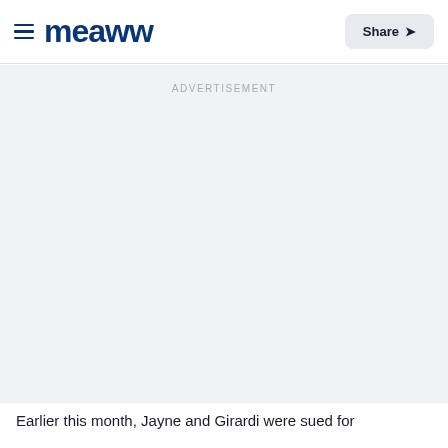Meaww — Share
ADVERTISEMENT
Earlier this month, Jayne and Girardi were sued for